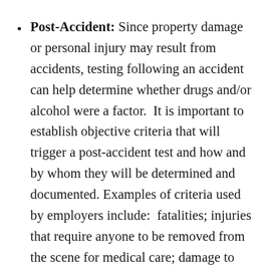Post-Accident: Since property damage or personal injury may result from accidents, testing following an accident can help determine whether drugs and/or alcohol were a factor.  It is important to establish objective criteria that will trigger a post-accident test and how and by whom they will be determined and documented. Examples of criteria used by employers include:  fatalities; injuries that require anyone to be removed from the scene for medical care; damage to vehicles or property above a specified monetary